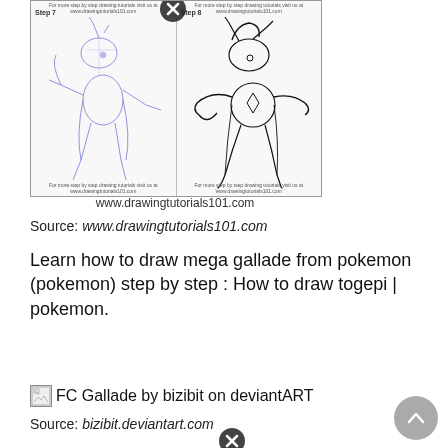[Figure (illustration): Two-panel step-by-step drawing tutorial of Mega Gallade from Pokemon. Left panel labeled Step 7 shows a sketchy blue pencil outline. Right panel labeled Step 8 shows a more refined ink outline. Each panel has a URL watermark at top and bottom.]
www.drawingtutorials101.com
Source: www.drawingtutorials101.com
Learn how to draw mega gallade from pokemon (pokemon) step by step : How to draw togepi | pokemon.
[Figure (illustration): Broken image icon placeholder for FC Gallade by bizibit on deviantART]
FC Gallade by bizibit on deviantART
Source: bizibit.deviantart.com